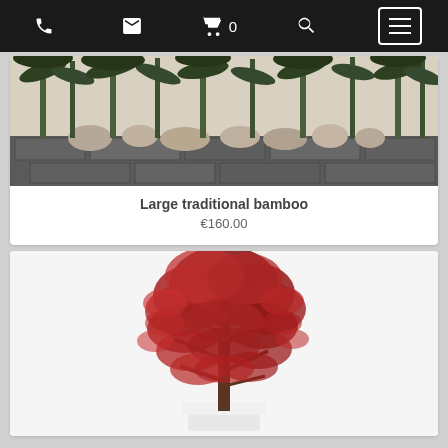Navigation bar with phone, email, cart (0), search, and menu icons
[Figure (photo): Bamboo plants against a white wall with stone ground and rocks]
Large traditional bamboo
€160.00
[Figure (photo): Red Japanese maple tree in a white pot on white background]